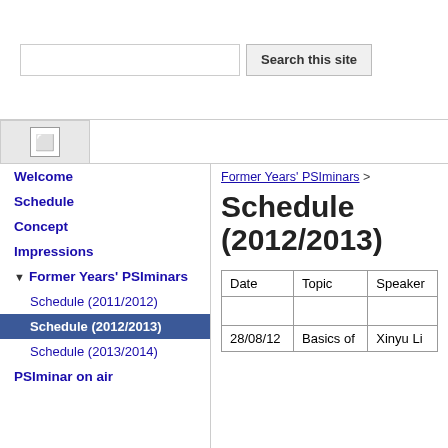[Figure (screenshot): Search bar with text input and 'Search this site' button]
[Figure (screenshot): Toggle sidebar icon button]
Welcome
Schedule
Concept
Impressions
Former Years' PSIminars
Schedule (2011/2012)
Schedule (2012/2013)
Schedule (2013/2014)
PSIminar on air
Former Years' PSIminars >
Schedule (2012/2013)
| Date | Topic | Speaker |
| --- | --- | --- |
|  |  |  |
| 28/08/12 | Basics of | Xinyu Li |